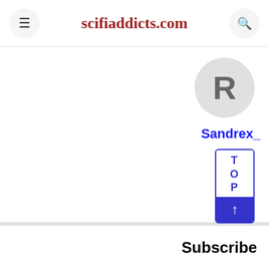scifiaddicts.com
[Figure (screenshot): Website screenshot showing scifiaddicts.com header with hamburger menu and search button, a user avatar circle with letter R, username Sandrex_, a TOP scroll-to-top button, and a Subscribe section at the bottom.]
Sandrex_
TOP ↑
Subscribe